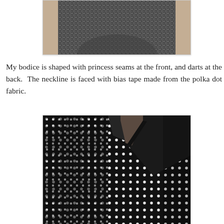[Figure (photo): Close-up photo of a black and white speckled/tweed fabric garment, showing the bodice area against a beige/tan background.]
My bodice is shaped with princess seams at the front, and darts at the back.  The neckline is faced with bias tape made from the polka dot fabric.
[Figure (photo): Close-up photo of a black fabric with white polka dots, showing the neckline area with a dark bias tape facing at the collar/neckline edge.]